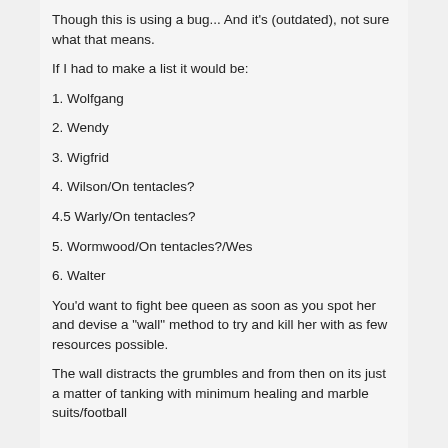Though this is using a bug... And it's (outdated), not sure what that means.
If I had to make a list it would be:
1. Wolfgang
2. Wendy
3. Wigfrid
4. Wilson/On tentacles?
4.5 Warly/On tentacles?
5. Wormwood/On tentacles?/Wes
6. Walter
You'd want to fight bee queen as soon as you spot her and devise a "wall" method to try and kill her with as few resources possible.
The wall distracts the grumbles and from then on its just a matter of tanking with minimum healing and marble suits/football